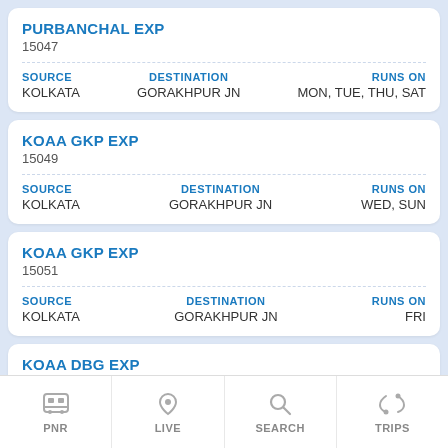| PURBANCHAL EXP | 15047 | SOURCE | DESTINATION | RUNS ON |
| --- | --- | --- | --- | --- |
| KOLKATA | GORAKHPUR JN | MON, TUE, THU, SAT |
| KOAA GKP EXP | 15049 | SOURCE | DESTINATION | RUNS ON |
| --- | --- | --- | --- | --- |
| KOLKATA | GORAKHPUR JN | WED, SUN |
| KOAA GKP EXP | 15051 | SOURCE | DESTINATION | RUNS ON |
| --- | --- | --- | --- | --- |
| KOLKATA | GORAKHPUR JN | FRI |
| KOAA DBG EXP | 15333 | SOURCE | DESTINATION | RUNS ON |
| --- | --- | --- | --- | --- |
| KOLKATA | DARBHANGA |  |
PNR  LIVE  SEARCH  TRIPS